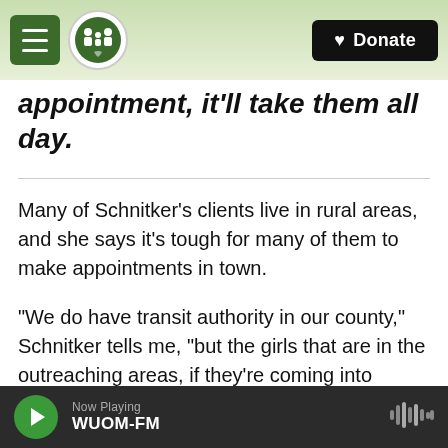WUOM-FM navigation header with Donate button
appointment, it'll take them all day.
Many of Schnitker's clients live in rural areas, and she says it's tough for many of them to make appointments in town.
"We do have transit authority in our county," Schnitker tells me, "but the girls that are in the outreaching areas, if they're coming into Cadillac for an appointment, it'll take them all day."
That's one of the reasons home health visits are so
Now Playing WUOM-FM